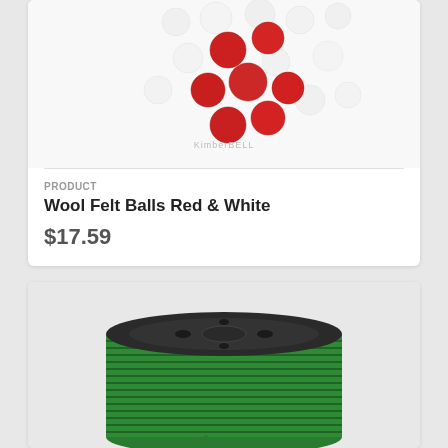[Figure (photo): Photo of red and white wool felt balls scattered on a white surface, with KimberBell watermark logo visible]
PRODUCT
Wool Felt Balls Red & White
$17.59
[Figure (photo): Photo of a spool of green elastic/rope cord wound around a black plastic spool]